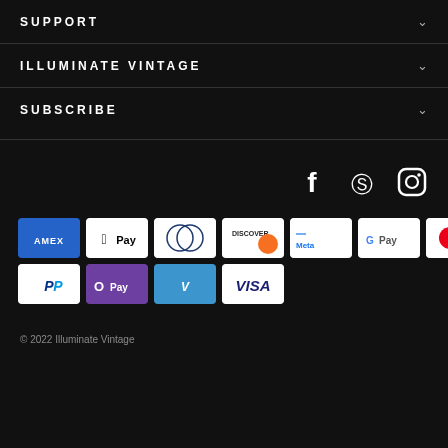SUPPORT
ILLUMINATE VINTAGE
SUBSCRIBE
[Figure (infographic): Social media icons: Facebook, Pinterest, Instagram]
[Figure (infographic): Payment method badges: AMEX, Apple Pay, Diners Club, Discover, Meta, Google Pay, Mastercard, PayPal, OPay, Venmo, Visa]
© 2022 Illuminate Vintage